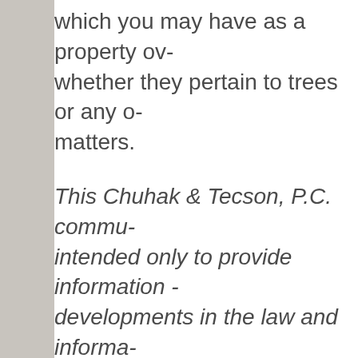which you may have as a property owner, whether they pertain to trees or any other matters.
This Chuhak & Tecson, P.C. communication is intended only to provide information about developments in the law and information of general interest. It is not intended to provide advice regarding legal problems and should not be relied upon as such.
Client alert authored by: Arnold E. K[…], Principal